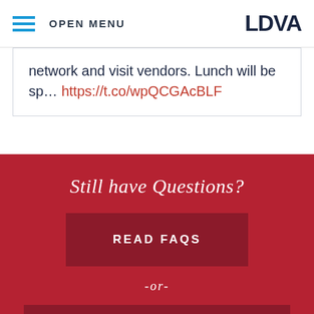OPEN MENU | LDVA
network and visit vendors. Lunch will be sp... https://t.co/wpQCGAcBLF
Still have Questions?
READ FAQS
-or-
FIND YOUR SERVICE OFFICE